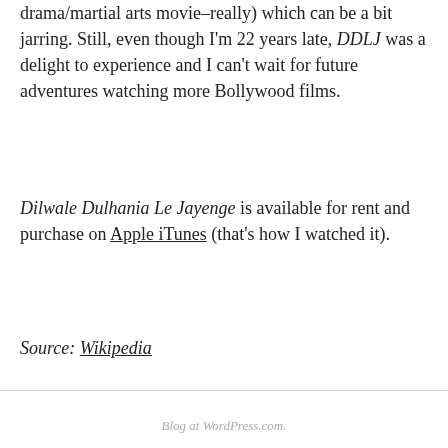drama/martial arts movie–really) which can be a bit jarring. Still, even though I'm 22 years late, DDLJ was a delight to experience and I can't wait for future adventures watching more Bollywood films.
Dilwale Dulhania Le Jayenge is available for rent and purchase on Apple iTunes (that's how I watched it).
Source: Wikipedia
Blog at WordPress.com.